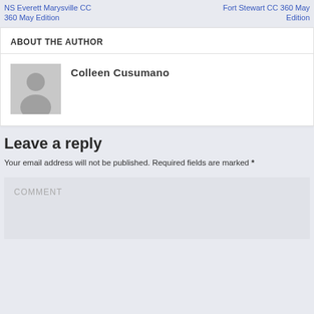NS Everett Marysville CC 360 May Edition | Fort Stewart CC 360 May Edition
ABOUT THE AUTHOR
Colleen Cusumano
Leave a reply
Your email address will not be published. Required fields are marked *
COMMENT